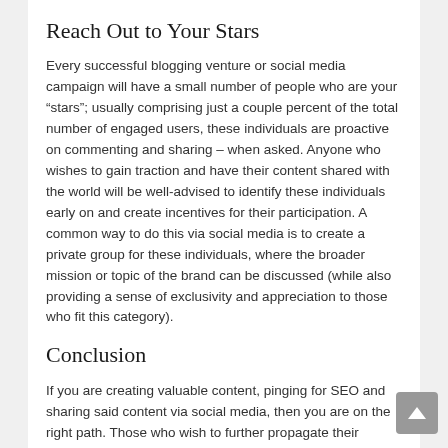Reach Out to Your Stars
Every successful blogging venture or social media campaign will have a small number of people who are your “stars”; usually comprising just a couple percent of the total number of engaged users, these individuals are proactive on commenting and sharing – when asked. Anyone who wishes to gain traction and have their content shared with the world will be well-advised to identify these individuals early on and create incentives for their participation. A common way to do this via social media is to create a private group for these individuals, where the broader mission or topic of the brand can be discussed (while also providing a sense of exclusivity and appreciation to those who fit this category).
Conclusion
If you are creating valuable content, pinging for SEO and sharing said content via social media, then you are on the right path. Those who wish to further propagate their content, however, will need to network with existing followers, make strong appeals to those who have subscribed via email and reach out to those who have